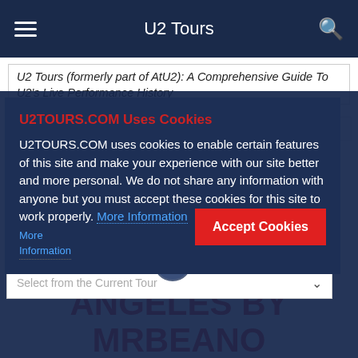U2 Tours
U2 Tours (formerly part of AtU2): A Comprehensive Guide To U2's Live Performance History
U2TOURS.COM Uses Cookies
U2TOURS.COM uses cookies to enable certain features of this site and make your experience with our site better and more personal. We do not share any information with anyone but you must accept these cookies for this site to work properly. More Information
Accept Cookies
U2 CONCERT REVIEW: 11/13/2001 AT LOS ANGELES BY MRBEANO